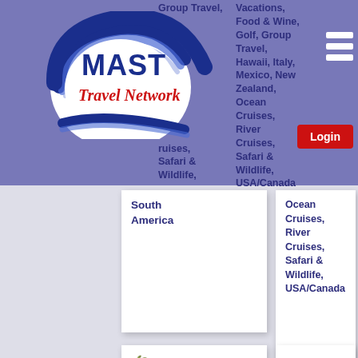[Figure (logo): MAST Travel Network logo — circular swoosh design in blue with 'MAST' in bold blue letters and 'Travel Network' in red italic letters]
Group Travel,
Vacations, Food & Wine, Golf, Group Travel, Hawaii, Italy, Mexico, New Zealand, Ocean Cruises, River Cruises, Safari & Wildlife, USA/Canada
Cruises, Safari & Wildlife, South America
South America
[Figure (logo): All About Vacations logo — small illustration of palm trees and a beach hut with 'All About Vacations' text in decorative script]